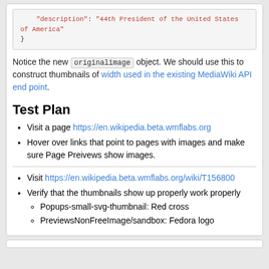[Figure (screenshot): Code block showing JSON with 'description': '44th President of the United States of America' and closing brace]
Notice the new originalimage object. We should use this to construct thumbnails of width used in the existing MediaWiki API end point.
Test Plan
Visit a page https://en.wikipedia.beta.wmflabs.org
Hover over links that point to pages with images and make sure Page Preivews show images.
Visit https://en.wikipedia.beta.wmflabs.org/wiki/T156800
Verify that the thumbnails show up properly work properly
Popups-small-svg-thumbnail: Red cross
PreviewsNonFreeImage/sandbox: Fedora logo